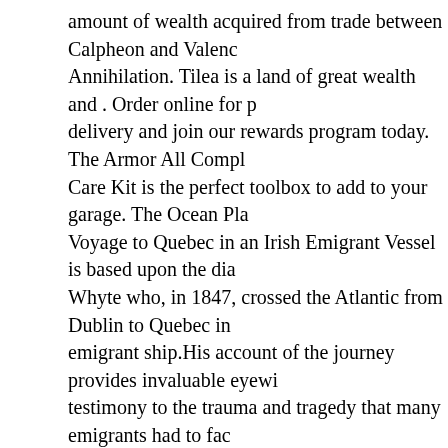amount of wealth acquired from trade between Calpheon and Valenc Annihilation. Tilea is a land of great wealth and . Order online for p delivery and join our rewards program today. The Armor All Compl Care Kit is the perfect toolbox to add to your garage. The Ocean Pla Voyage to Quebec in an Irish Emigrant Vessel is based upon the dia Whyte who, in 1847, crossed the Atlantic from Dublin to Quebec in emigrant ship.His account of the journey provides invaluable eyewi testimony to the trauma and tragedy that many emigrants had to fac their new lives in Canada and America. Experience Street View, 3D turn-by-turn directions, indoor maps and more across your devices. 40 craft, gift, food and drink traders are lined up ready to supply the brand new Christmas in Cathedral Square event. Cookie Duration D _ga: 2 years: This cookie is installed by Google Analytics. Disclaim NeighborWho's mission is to help people find in-depth information properties and property owners, but NeighborWho does not provide investigator services or consumer reports, and is not a consumer rep agency per the Fair Credit Reporting Act.You may not use our site o the information provided to make decisions about employment, adm consumer . Public Info Directory is a website that provides free acc all sorts of public data. The merchants map of commerce wherein th manner and matter of trade is compendiously handled, the standard